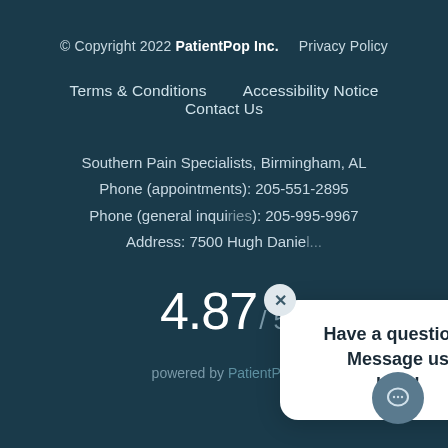© Copyright 2022 PatientPop Inc.    Privacy Policy
Terms & Conditions    Accessibility Notice    Contact Us
Southern Pain Specialists, Birmingham, AL
Phone (appointments): 205-551-2895
Phone (general inquiries): 205-995-9967
Address: 7500 Hugh Daniel...
4.87 / 5
Have a question? Message us here!
powered by PatientPop